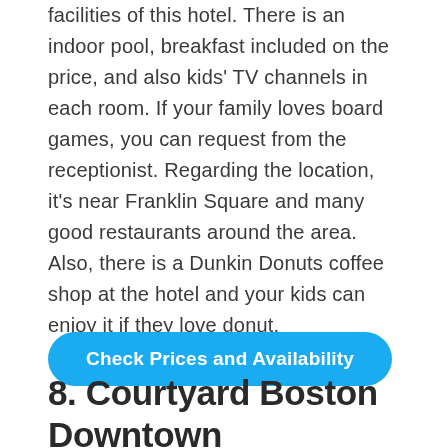facilities of this hotel. There is an indoor pool, breakfast included on the price, and also kids' TV channels in each room. If your family loves board games, you can request from the receptionist. Regarding the location, it's near Franklin Square and many good restaurants around the area. Also, there is a Dunkin Donuts coffee shop at the hotel and your kids can enjoy it if they love donut.
[Figure (other): Blue rounded rectangular button with white text: 'Check Prices and Availability']
8. Courtyard Boston Downtown